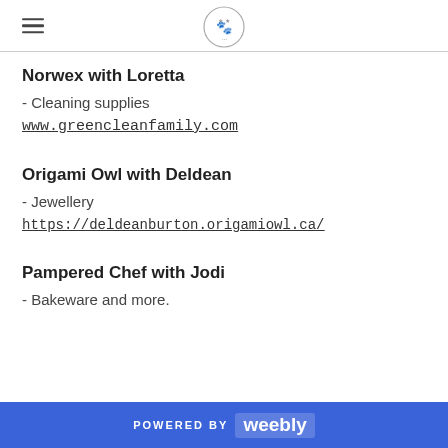[logo: paw print in circle] [hamburger menu icon]
Norwex with Loretta
- Cleaning supplies
www.greencleanfamily.com
Origami Owl with Deldean
- Jewellery
https://deldeanburton.origamiowl.ca/
Pampered Chef with Jodi
- Bakeware and more.
POWERED BY weebly